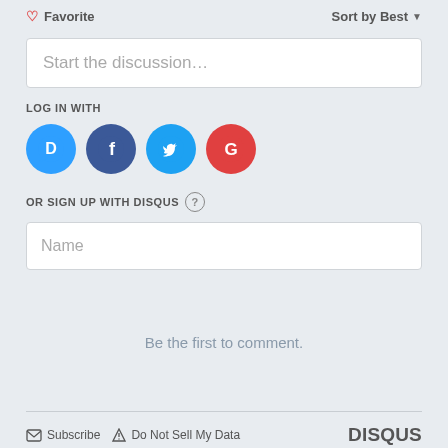♡ Favorite
Sort by Best ▼
Start the discussion…
LOG IN WITH
[Figure (illustration): Four social login icons in circles: Disqus (blue), Facebook (dark blue), Twitter (light blue), Google (red)]
OR SIGN UP WITH DISQUS (?)
Name
Be the first to comment.
✉ Subscribe  ▲ Do Not Sell My Data   DISQUS